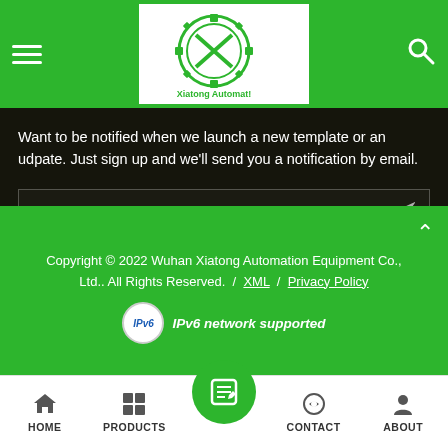Xiatong Automat! (logo/navigation header)
Want to be notified when we launch a new template or an udpate. Just sign up and we'll send you a notification by email.
[Figure (screenshot): Email address input field with send icon]
[Figure (infographic): Social media icons: Facebook, LinkedIn, Instagram, Pinterest, Twitter, YouTube]
Copyright © 2022 Wuhan Xiatong Automation Equipment Co., Ltd.. All Rights Reserved. / XML / Privacy Policy
IPv6 network supported
HOME | PRODUCTS | CONTACT | ABOUT (bottom navigation bar)